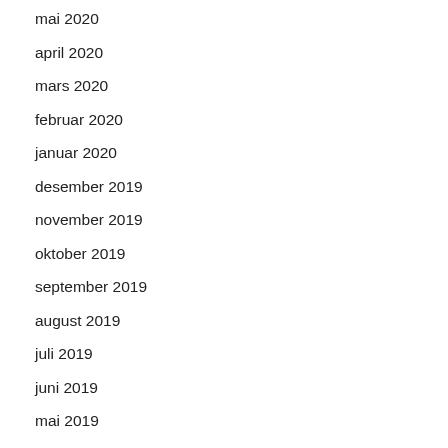mai 2020
april 2020
mars 2020
februar 2020
januar 2020
desember 2019
november 2019
oktober 2019
september 2019
august 2019
juli 2019
juni 2019
mai 2019
april 2019